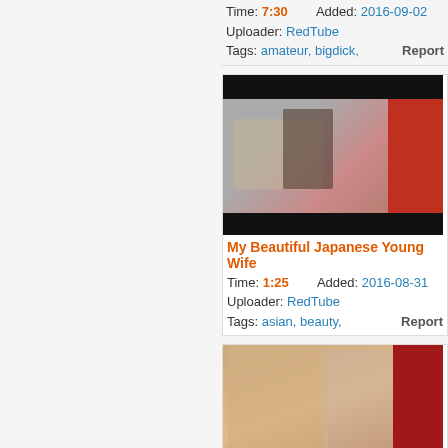Time: 7:30   Added: 2016-09-02
Uploader: RedTube
Tags: amateur, bigdick,   Report
[Figure (photo): Video thumbnail showing blurred scene with black bars top and bottom]
My Beautiful Japanese Young Wife
Time: 1:25   Added: 2016-08-31
Uploader: RedTube
Tags: asian, beauty,   Report
[Figure (photo): Video thumbnail showing couple]
horny amateur short clip
Time: 6:25   Added: 2016-09-01
Uploader: RedTube